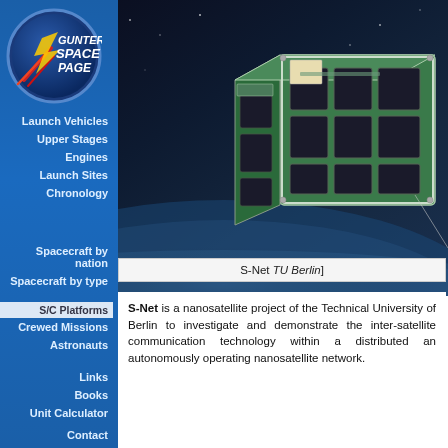[Figure (logo): Gunter's Space Page logo — circular blue emblem with italic bold white text 'GUNTER'S SPACE PAGE' and red rocket/flash graphic]
Launch Vehicles
Upper Stages
Engines
Launch Sites
Chronology
Spacecraft by nation
Spacecraft by type
S/C Platforms
Crewed Missions
Astronauts
Links
Books
Unit Calculator
Contact
[Figure (photo): Rendered illustration of the S-Net nanosatellite — a box-shaped satellite with green PCB panels and solar cells, floating above Earth's horizon against a dark space background]
S-Net [TU Berlin]
S-Net is a nanosatellite project of the Technical University of Berlin to investigate and demonstrate the inter-satellite communication technology within a distributed an autonomously operating nanosatellite network.